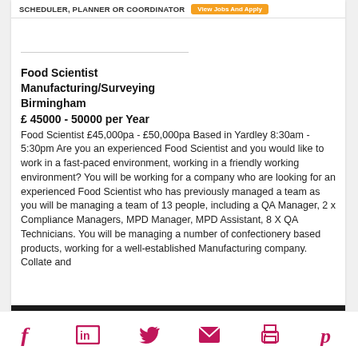SCHEDULER, PLANNER OR COORDINATOR  [View Jobs And Apply]
Food Scientist
Manufacturing/Surveying
Birmingham
£ 45000 - 50000 per Year
Food Scientist £45,000pa - £50,000pa Based in Yardley 8:30am - 5:30pm Are you an experienced Food Scientist and you would like to work in a fast-paced environment, working in a friendly working environment? You will be working for a company who are looking for an experienced Food Scientist who has previously managed a team as you will be managing a team of 13 people, including a QA Manager, 2 x Compliance Managers, MPD Manager, MPD Assistant, 8 X QA Technicians. You will be managing a number of confectionery based products, working for a well-established Manufacturing company. Collate and
Social share icons: Facebook, LinkedIn, Twitter, Email, Print, Pinterest